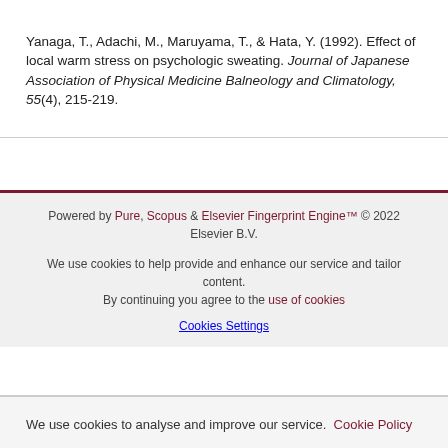Yanaga, T., Adachi, M., Maruyama, T., & Hata, Y. (1992). Effect of local warm stress on psychologic sweating. Journal of Japanese Association of Physical Medicine Balneology and Climatology, 55(4), 215-219.
Powered by Pure, Scopus & Elsevier Fingerprint Engine™ © 2022 Elsevier B.V.
We use cookies to help provide and enhance our service and tailor content. By continuing you agree to the use of cookies
Cookies Settings
We use cookies to analyse and improve our service. Cookie Policy